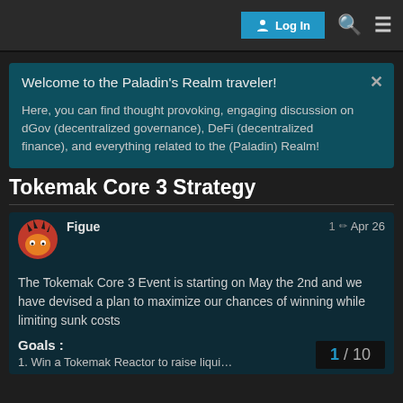Log In
Welcome to the Paladin's Realm traveler!

Here, you can find thought provoking, engaging discussion on dGov (decentralized governance), DeFi (decentralized finance), and everything related to the (Paladin) Realm!
Tokemak Core 3 Strategy
Figue  1 ✏ Apr 26
The Tokemak Core 3 Event is starting on May the 2nd and we have devised a plan to maximize our chances of winning while limiting sunk costs

Goals :
1. Win a Tokemak Reactor to raise liqui…
1 / 10